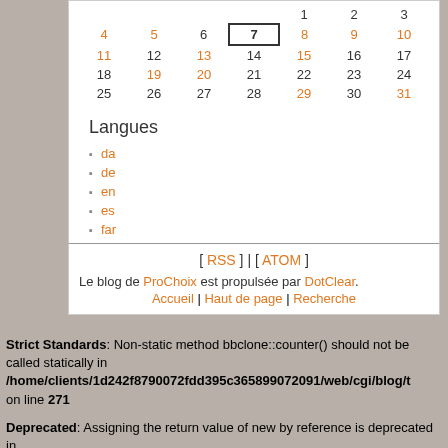|  |  |  |  | 1 | 2 | 3 |
| 4 | 5 | 6 | 7 | 8 | 9 | 10 |
| 11 | 12 | 13 | 14 | 15 | 16 | 17 |
| 18 | 19 | 20 | 21 | 22 | 23 | 24 |
| 25 | 26 | 27 | 28 | 29 | 30 | 31 |
Langues
da
de
en
es
far
fr
it
nd
[ RSS ] | [ ATOM ]
Le blog de ProChoix est propulsée par DotClear.
Accueil | Haut de page | Recherche
Strict Standards: Non-static method bbclone::counter() should not be called statically in /home/clients/1d242f8790072fdd395c365899072091/web/cgi/blog/t on line 271
Deprecated: Assigning the return value of new by reference is deprecated in /home/clients/1d242f8790072fdd395c365899072091/web/cgi/b